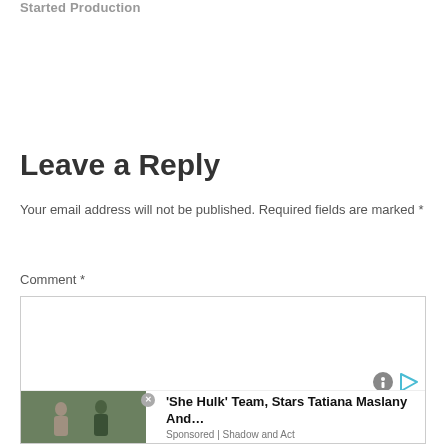Started Production
Leave a Reply
Your email address will not be published. Required fields are marked *
Comment *
[Figure (screenshot): Comment text area input box with ad overlay showing 'She Hulk' Team, Stars Tatiana Maslany And... Sponsored | Shadow and Act]
'She Hulk' Team, Stars Tatiana Maslany And... Sponsored | Shadow and Act